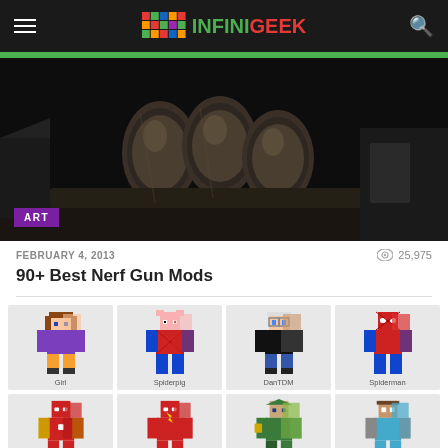INFINIGEEK
[Figure (photo): Close-up photo of a mechanical/industrial object with multiple cylindrical metal tubes, dark background. ART badge overlaid in bottom-left.]
FEBRUARY 4, 2013   25,975
90+ Best Nerf Gun Mods
[Figure (screenshot): Grid of Minecraft character skins: Girl, Spiderpig, DanTDM, Spiderman in top row; Iron Man, Flash, Link/Yoda, Herobrine in bottom row (partially visible).]